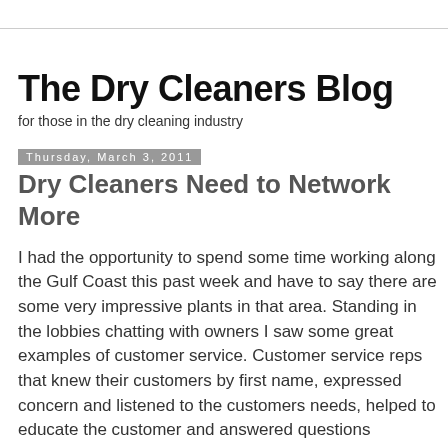The Dry Cleaners Blog
for those in the dry cleaning industry
Thursday, March 3, 2011
Dry Cleaners Need to Network More
I had the opportunity to spend some time working along the Gulf Coast this past week and have to say there are some very impressive plants in that area. Standing in the lobbies chatting with owners I saw some great examples of customer service. Customer service reps that knew their customers by first name, expressed concern and listened to the customers needs, helped to educate the customer and answered questions pertaining to their garments care. Not to mention that business was booming (I learned that Mardi Gras is